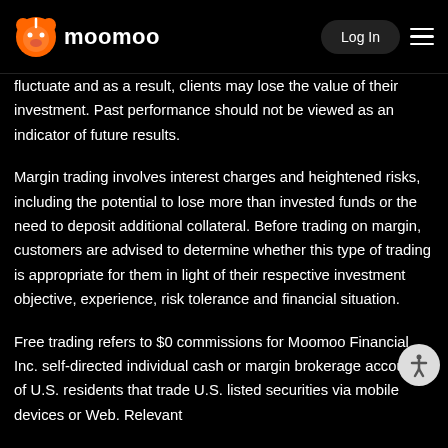moomoo | Log In
fluctuate and as a result, clients may lose the value of their investment. Past performance should not be viewed as an indicator of future results.
Margin trading involves interest charges and heightened risks, including the potential to lose more than invested funds or the need to deposit additional collateral. Before trading on margin, customers are advised to determine whether this type of trading is appropriate for them in light of their respective investment objective, experience, risk tolerance and financial situation.
Free trading refers to $0 commissions for Moomoo Financial Inc. self-directed individual cash or margin brokerage accounts of U.S. residents that trade U.S. listed securities via mobile devices or Web. Relevant